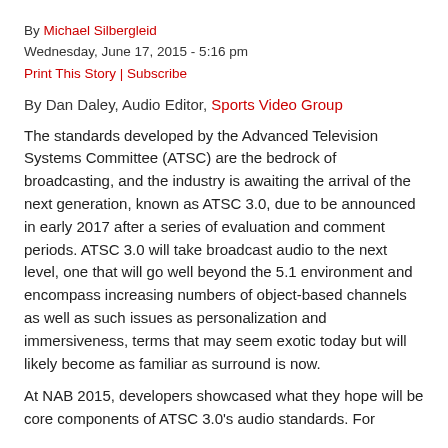By Michael Silbergleid
Wednesday, June 17, 2015 - 5:16 pm
Print This Story | Subscribe
By Dan Daley, Audio Editor, Sports Video Group
The standards developed by the Advanced Television Systems Committee (ATSC) are the bedrock of broadcasting, and the industry is awaiting the arrival of the next generation, known as ATSC 3.0, due to be announced in early 2017 after a series of evaluation and comment periods. ATSC 3.0 will take broadcast audio to the next level, one that will go well beyond the 5.1 environment and encompass increasing numbers of object-based channels as well as such issues as personalization and immersiveness, terms that may seem exotic today but will likely become as familiar as surround is now.
At NAB 2015, developers showcased what they hope will be core components of ATSC 3.0's audio standards. For